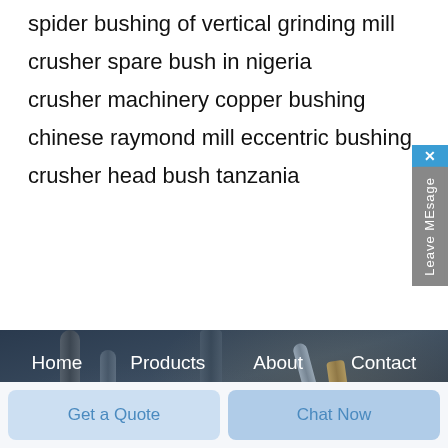spider bushing of vertical grinding mill
crusher spare bush in nigeria
crusher machinery copper bushing
chinese raymond mill eccentric bushing
crusher head bush tanzania
[Figure (photo): Industrial machinery parts (drills, grinding tools) in blurred dark background with navigation bar showing Home, Products, About, Contact, a Sales Hotline number 0086-024-86671638, and an orange Consultation button]
Home   Products   About   Contact
Sales Hotline: 0086-024-86671638
Consultation
Get a Quote
Chat Now